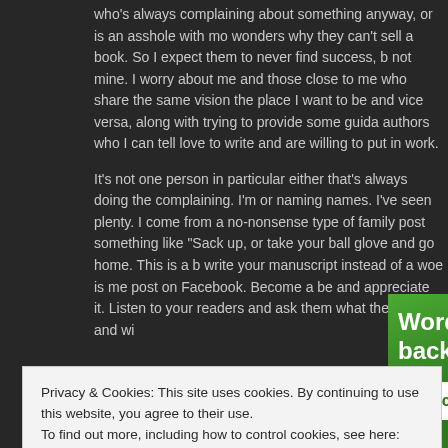who's always complaining about something anyway, or is an asshole with mo wonders why they can't sell a book. So I expect them to never find success, b not mine. I worry about me and those close to me who share the same vision the place I want to be and vice versa, along with trying to provide some guida authors who I can tell love to write and are willing to put in work.
It's not one person in particular either that's always doing the complaining. I'm or naming names. I've seen plenty. I come from a no-nonsense type of family post something like "Sack up, or take your ball glove and go home. This is a b write your manuscript instead of a woe is me post on Facebook. Become a be and appreciate it. Listen to your readers and ask them what they want and wi
[Figure (screenshot): Green WordPress backup plugin advertisement banner with white text reading 'WordPress backup plugin' and a white button reading 'Back up your site']
Privacy & Cookies: This site uses cookies. By continuing to use this website, you agree to their use.
To find out more, including how to control cookies, see here: Cookie Policy